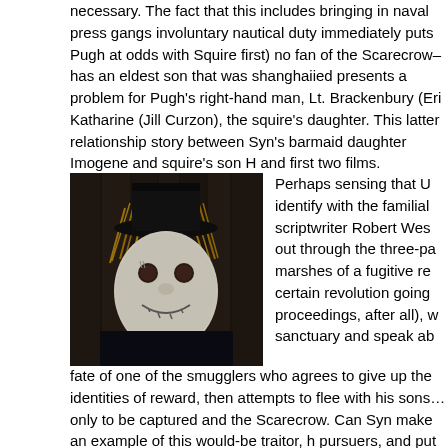necessary. The fact that this includes bringing in naval press gangs involuntary nautical duty immediately puts Pugh at odds with Squire first) no fan of the Scarecrow–has an eldest son that was shanghaiied presents a problem for Pugh's right-hand man, Lt. Brackenbury (Eri Katharine (Jill Curzon), the squire's daughter. This latter relationship story between Syn's barmaid daughter Imogene and squire's son H and first two films.
[Figure (photo): A close-up photo of the Scarecrow character in dark lighting, wearing a straw hat and a white sack mask with stitched features including a sewn smile and eyeholes, with straw hair visible.]
Perhaps sensing that U identify with the familial scriptwriter Robert Wes out through the three-pa marshes of a fugitive re certain revolution going proceedings, after all), w sanctuary and speak ab fate of one of the smugglers who agrees to give up the identities of reward, then attempts to flee with his sons…only to be captured and the Scarecrow. Can Syn make an example of this would-be traitor, h pursuers, and put things right in the squire's household, even as Pu the Scarecrow's true identity?